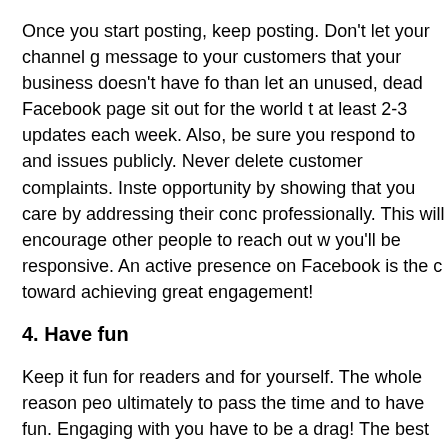Once you start posting, keep posting.  Don't let your channel go dark—it sends a message to your customers that your business doesn't have focus or direction.  Rather than let an unused, dead Facebook page sit out for the world to see, aim to post at least 2-3 updates each week.  Also, be sure you respond to customer complaints and issues publicly.  Never delete customer complaints.  Instead, use it as an opportunity by showing that you care by addressing their concerns promptly and professionally.  This will encourage other people to reach out with the knowledge that you'll be responsive.  An active presence on Facebook is the cornerstone toward achieving great engagement!
4.  Have fun
Keep it fun for readers and for yourself. The whole reason people use social media is ultimately to pass the time and to have fun. Engaging with your audience doesn't have to be a drag! The best performing Facebook pages have a mix of text, photo, and multimedia content. According to Word of Mouth Marketing Association, photos and videos can help boost your interaction by 120% over plain text posts. Photos and videos also take up more space on Facebook page, making them mo...